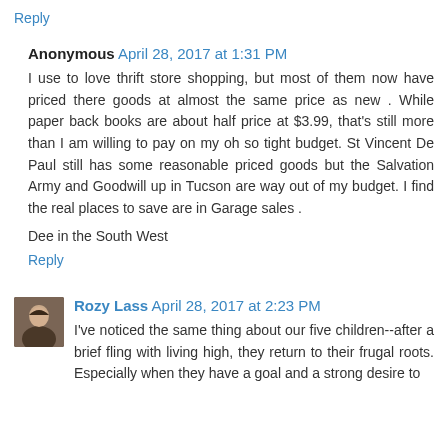Reply
Anonymous  April 28, 2017 at 1:31 PM
I use to love thrift store shopping, but most of them now have priced there goods at almost the same price as new . While paper back books are about half price at $3.99, that's still more than I am willing to pay on my oh so tight budget. St Vincent De Paul still has some reasonable priced goods but the Salvation Army and Goodwill up in Tucson are way out of my budget. I find the real places to save are in Garage sales .
Dee in the South West
Reply
Rozy Lass  April 28, 2017 at 2:23 PM
I've noticed the same thing about our five children--after a brief fling with living high, they return to their frugal roots. Especially when they have a goal and a strong desire to